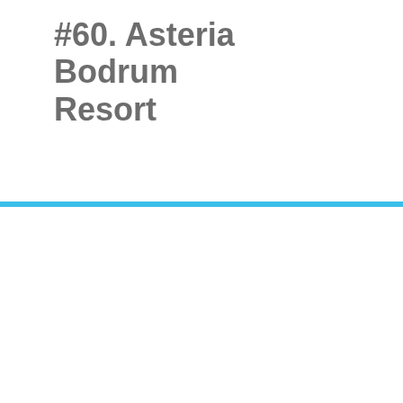#60. Asteria Bodrum Resort
[Figure (screenshot): Modal popup overlay with a blue top border bar, close (X) button, heading 'Stay Connected!', body text, and a blue SUBSCRIBE button.]
Stay Connected!
Get amazing special offers and the latest news and info direct to your inbox!
SUBSCRIBE